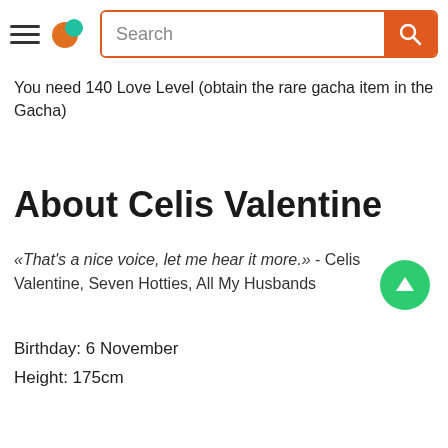Search
You need 140 Love Level (obtain the rare gacha item in the Gacha)
About Celis Valentine
«That's a nice voice, let me hear it more.» - Celis Valentine, Seven Hotties, All My Husbands
Birthday: 6 November
Height: 175cm